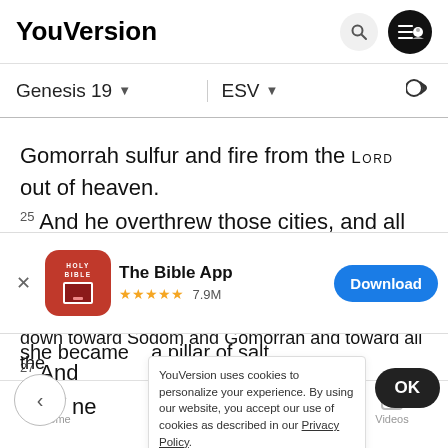YouVersion
Genesis 19 ▾   ESV ▾
Gomorrah sulfur and fire from the LORD out of heaven.
25 And he overthrew those cities, and all the valley, and
[Figure (screenshot): The Bible App banner advertisement with HOLY BIBLE icon, 5 stars, 7.9M rating, and Download button]
she became   a pillar of salt.
27 And
ne
YouVersion uses cookies to personalize your experience. By using our website, you accept our use of cookies as described in our Privacy Policy.
OK
down toward Sodom and Gomorrah and toward all the
Home  Bible  Plans  Videos